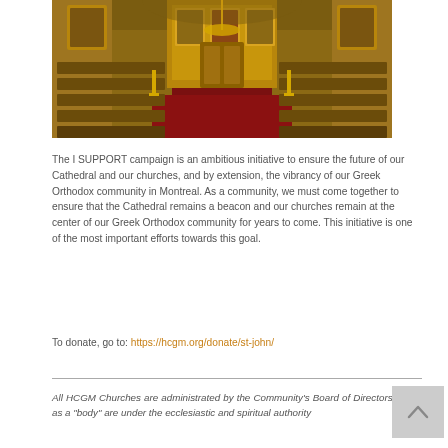[Figure (photo): Interior of a Greek Orthodox church showing wooden pews, red carpet aisle, ornate golden iconostasis, and candlesticks]
The I SUPPORT campaign is an ambitious initiative to ensure the future of our Cathedral and our churches, and by extension, the vibrancy of our Greek Orthodox community in Montreal. As a community, we must come together to ensure that the Cathedral remains a beacon and our churches remain at the center of our Greek Orthodox community for years to come. This initiative is one of the most important efforts towards this goal.
To donate, go to: https://hcgm.org/donate/st-john/
All HCGM Churches are administrated by the Community's Board of Directors and as a "body" are under the ecclesiastic and spiritual authority